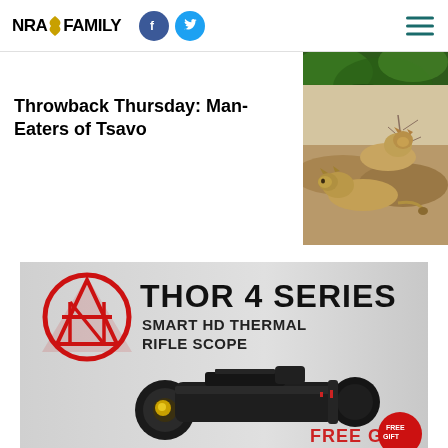NRA FAMILY
[Figure (photo): Partial view of a green foliage/nature photo in the top right corner]
Throwback Thursday: Man-Eaters of Tsavo
[Figure (photo): Two lions resting on rocks in a dry landscape]
[Figure (illustration): ATN Thor 4 Series Smart HD Thermal Rifle Scope advertisement showing the rifle scope product with ATN logo and text FREE G... (partially visible)]